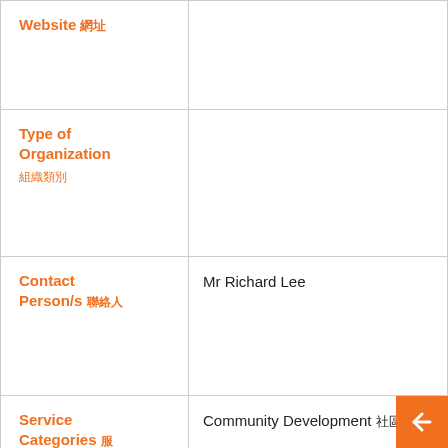| Field | Value |
| --- | --- |
| Website 網址 |  |
| Type of Organization 組織類別 |  |
| Contact Person/s 聯絡人 | Mr Richard Lee |
| Service Categories 服務類別 | Community Development 社區發展 |
| Services Provided 提供服務 | Free meal, medical care, haircut, clothing, drug rehabilitation assistance, legal assistance and |